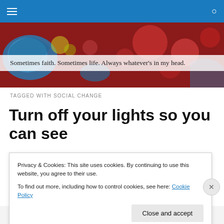Navigation bar with hamburger menu and search icon
[Figure (photo): Colorful abstract hero image with red, blue, and teal hues suggesting brain/light imagery]
Sometimes faith. Sometimes life. Always whatever's in my head.
TAGGED WITH SOCIAL CHANGE
Turn off your lights so you can see
Privacy & Cookies: This site uses cookies. By continuing to use this website, you agree to their use.
To find out more, including how to control cookies, see here: Cookie Policy
Close and accept